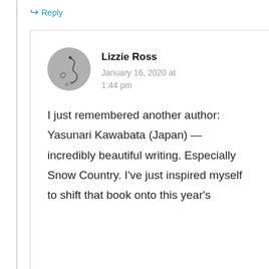↳ Reply
[Figure (illustration): Circular gray avatar with a hand-drawn illustration of a snake or similar creature]
Lizzie Ross
January 16, 2020 at 1:44 pm
I just remembered another author: Yasunari Kawabata (Japan) — incredibly beautiful writing. Especially Snow Country. I've just inspired myself to shift that book onto this year's